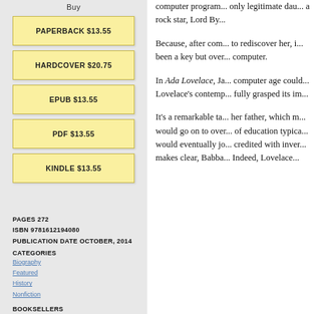Buy
PAPERBACK $13.55
HARDCOVER $20.75
EPUB $13.55
PDF $13.55
KINDLE $13.55
PAGES 272
ISBN 9781612194080
PUBLICATION DATE OCTOBER, 2014
CATEGORIES
Biography
Featured
History
Nonfiction
BOOKSELLERS
Request an ARC
computer program... only legitimate dau... a rock star, Lord By...

Because, after com... to rediscover her, i... been a key but over... computer.

In Ada Lovelace, Ja... computer age could... Lovelace's contemp... fully grasped its im...

It's a remarkable ta... her father, which m... would go on to over... of education typica... would eventually jo... credited with inver... makes clear, Babba... Indeed, Lovelace...